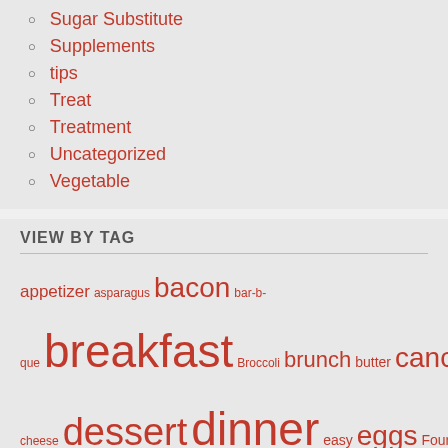Sugar Substitute
Supplements
tips
Treat
Treatment
Uncategorized
Vegetable
VIEW BY TAG
appetizer asparagus bacon bar-b-que breakfast Broccoli brunch butter cancer cauliflower cheese chocolate cream cream cheese dessert dinner easy eggs Fourth of July grass-fed groceries health Holiday kerrygold keto kid friendly kids Low-Carb lunch Main Course party recipe Salad side dish snack Spinach squash sugar Summer